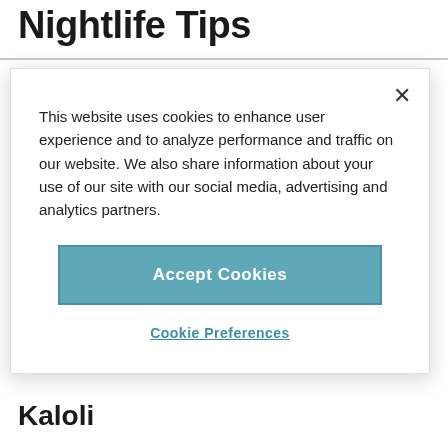Nightlife Tips
This website uses cookies to enhance user experience and to analyze performance and traffic on our website. We also share information about your use of our site with our social media, advertising and analytics partners.
Accept Cookies
Cookie Preferences
Kaloi. However, there is plenty of other spots to explore if you know where to look.
Kaloli